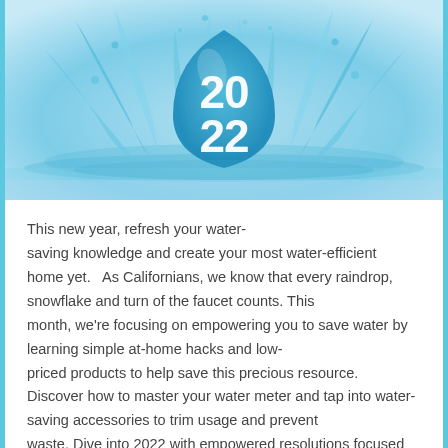[Figure (illustration): Water splash with a water droplet shape in the center containing the year '2022' in large white bold text. The background is light blue with water splashing around the droplet.]
This new year, refresh your water-saving knowledge and create your most water-efficient home yet.   As Californians, we know that every raindrop, snowflake and turn of the faucet counts. This month, we're focusing on empowering you to save water by learning simple at-home hacks and low-priced products to help save this precious resource. Discover how to master your water meter and tap into water-saving accessories to trim usage and prevent waste. Dive into 2022 with empowered resolutions focused